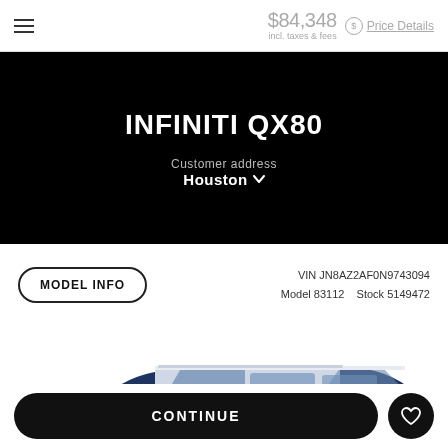$84,348 incl. taxes & fees Price Details
INFINITI QX80
Customer address Houston
MODEL INFO VIN JN8AZ2AF0N9743094 Model 83112 Stock 5149472
[Figure (photo): Side profile view of a dark navy blue INFINITI QX80 SUV]
CONTINUE